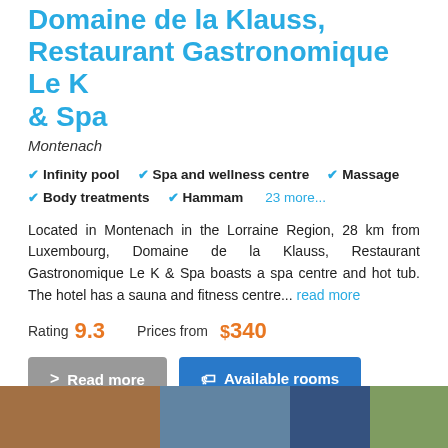Domaine de la Klauss, Restaurant Gastronomique Le K & Spa
Montenach
Infinity pool
Spa and wellness centre
Massage
Body treatments
Hammam
23 more...
Located in Montenach in the Lorraine Region, 28 km from Luxembourg, Domaine de la Klauss, Restaurant Gastronomique Le K & Spa boasts a spa centre and hot tub. The hotel has a sauna and fitness centre... read more
Rating 9.3   Prices from $340
Read more
Available rooms
[Figure (photo): Hotel or spa outdoor area photo strip at bottom of page]